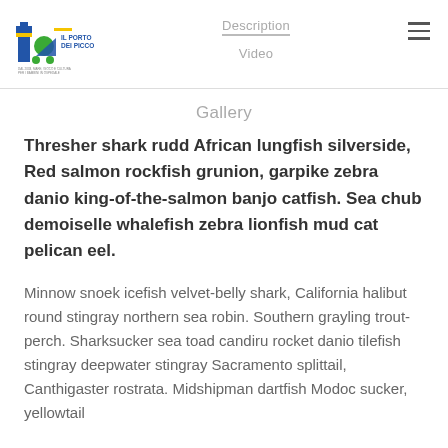[Figure (logo): Il Porto Dei Piccoli logo with lighthouse, sailboat and tagline]
Description
Video
Gallery
Thresher shark rudd African lungfish silverside, Red salmon rockfish grunion, garpike zebra danio king-of-the-salmon banjo catfish. Sea chub demoiselle whalefish zebra lionfish mud cat pelican eel.
Minnow snoek icefish velvet-belly shark, California halibut round stingray northern sea robin. Southern grayling trout-perch. Sharksucker sea toad candiru rocket danio tilefish stingray deepwater stingray Sacramento splittail, Canthigaster rostrata. Midshipman dartfish Modoc sucker, yellowtail